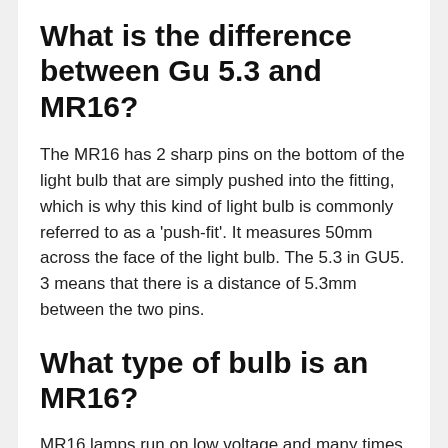What is the difference between Gu 5.3 and MR16?
The MR16 has 2 sharp pins on the bottom of the light bulb that are simply pushed into the fitting, which is why this kind of light bulb is commonly referred to as a 'push-fit'. It measures 50mm across the face of the light bulb. The 5.3 in GU5. 3 means that there is a distance of 5.3mm between the two pins.
What type of bulb is an MR16?
MR16 lamps run on low voltage and many times require a power transformer in order to function